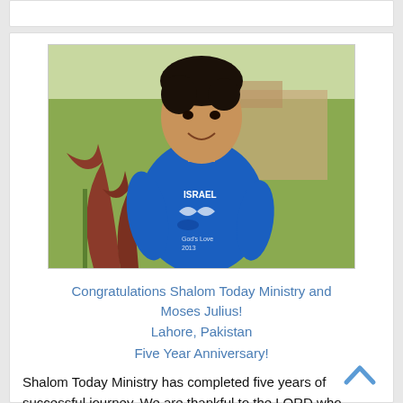[Figure (photo): Young man wearing a blue Israel t-shirt, standing outdoors with plants in the background, smiling at the camera.]
Congratulations Shalom Today Ministry and Moses Julius!
Lahore, Pakistan
Five Year Anniversary!
Shalom Today Ministry has completed five years of successful journey. We are thankful to the LORD who strengthen us to do